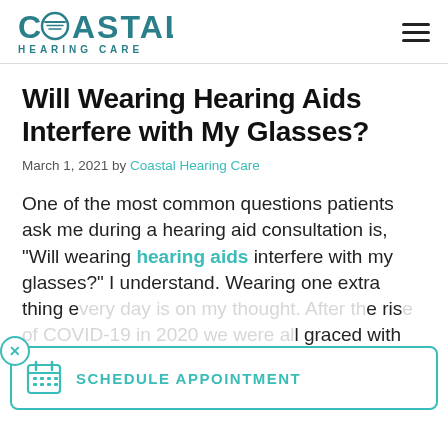COASTAL HEARING CARE
Will Wearing Hearing Aids Interfere with My Glasses?
March 1, 2021 by Coastal Hearing Care
One of the most common questions patients ask me during a hearing aid consultation is, “Will wearing hearing aids interfere with my glasses?” I understand. Wearing one extra thing every day is on my thought. After the rise of COVID-19 in 2020 we were all graced with yet another accessory–
[Figure (infographic): Schedule Appointment button/popup bar with calendar icon, teal border, and close (x) button in top-left corner]